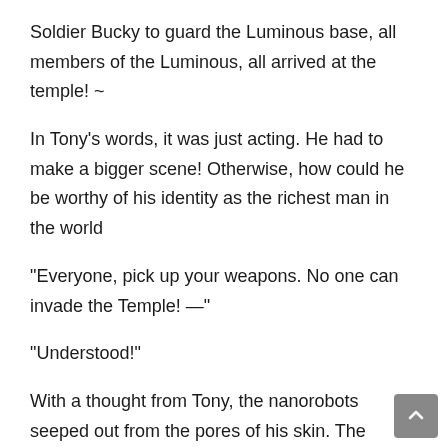Soldier Bucky to guard the Luminous base, all members of the Luminous, all arrived at the temple! ~
In Tony's words, it was just acting. He had to make a bigger scene! Otherwise, how could he be worthy of his identity as the richest man in the world
"Everyone, pick up your weapons. No one can invade the Temple! —"
"Understood!"
With a thought from Tony, the nanorobots seeped out from the pores of his skin. The newest blood line of the armor was formed!
"The world is not only guarded by mages, but also by